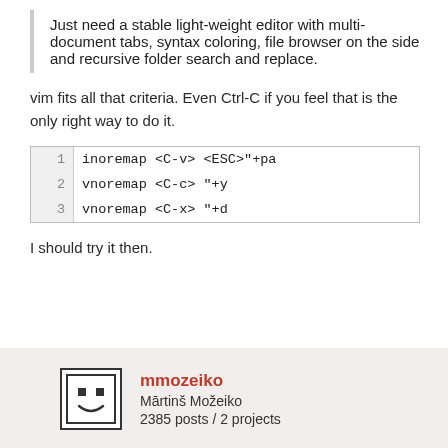Just need a stable light-weight editor with multi-document tabs, syntax coloring, file browser on the side and recursive folder search and replace.
vim fits all that criteria. Even Ctrl-C if you feel that is the only right way to do it.
| line | code |
| --- | --- |
| 1 | inoremap <C-v> <ESC>"+pa |
| 2 | vnoremap <C-c> "+y |
| 3 | vnoremap <C-x> "+d |
I should try it then.
mmozeiko
Mārtinš Možeiko
2385 posts / 2 projects